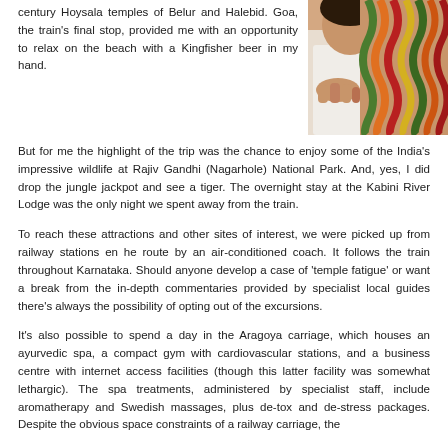century Hoysala temples of Belur and Halebid. Goa, the train's final stop, provided me with an opportunity to relax on the beach with a Kingfisher beer in my hand.
[Figure (photo): Close-up photograph of a person holding colorful braided ropes or garlands, wearing a white shirt]
But for me the highlight of the trip was the chance to enjoy some of the India's impressive wildlife at Rajiv Gandhi (Nagarhole) National Park. And, yes, I did drop the jungle jackpot and see a tiger. The overnight stay at the Kabini River Lodge was the only night we spent away from the train.
To reach these attractions and other sites of interest, we were picked up from railway stations en he route by an air-conditioned coach. It follows the train throughout Karnataka. Should anyone develop a case of 'temple fatigue' or want a break from the in-depth commentaries provided by specialist local guides there's always the possibility of opting out of the excursions.
It's also possible to spend a day in the Aragoya carriage, which houses an ayurvedic spa, a compact gym with cardiovascular stations, and a business centre with internet access facilities (though this latter facility was somewhat lethargic). The spa treatments, administered by specialist staff, include aromatherapy and Swedish massages, plus de-tox and de-stress packages. Despite the obvious space constraints of a railway carriage, the